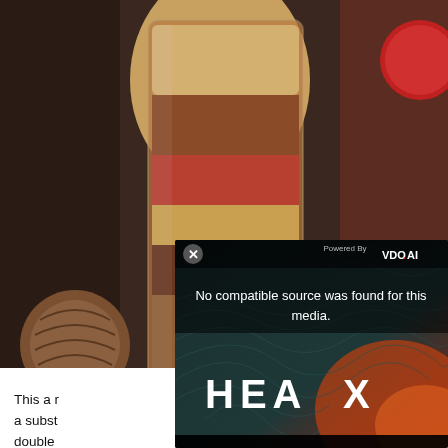[Figure (photo): A glass jar filled with layered spices in various shades of brown, red, and tan, with a nutmeg and other spices visible in the background on a dark surface.]
[Figure (screenshot): A video player overlay popup showing 'No compatible source was found for this media.' with a close (x) button, 'Powered By VDO.AI' branding, and a dark teal/orange gradient background with topographic line pattern and 'HEA X' text.]
This a r... a subst... double...
Provide...
Categor...